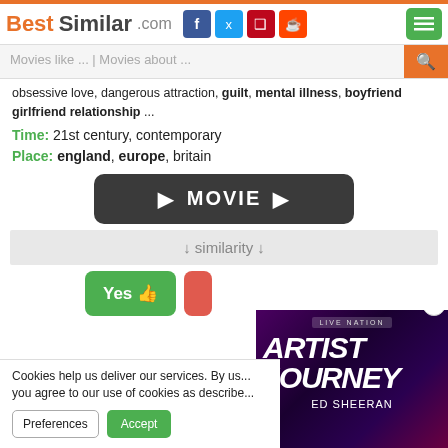BestSimilar.com
Movies like ... | Movies about ...
obsessive love, dangerous attraction, guilt, mental illness, boyfriend girlfriend relationship ...
Time: 21st century, contemporary
Place: england, europe, britain
[Figure (other): Dark rounded button with play triangles and text MOVIE]
↓ similarity ↓
Yes 👍
[Figure (photo): Live Nation ad for Artist Journey - Ed Sheeran with purple/pink concert background]
Cookies help us deliver our services. By us... you agree to our use of cookies as describe...
Preferences  Accept